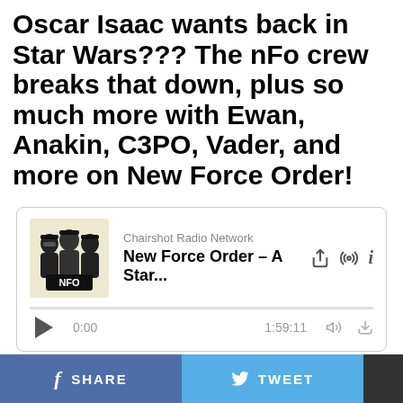Oscar Isaac wants back in Star Wars??? The nFo crew breaks that down, plus so much more with Ewan, Anakin, C3PO, Vader, and more on New Force Order!
[Figure (screenshot): Podcast player card for 'New Force Order - A Star...' on Chairshot Radio Network, showing podcast artwork with three figures, playback controls at 0:00 of 1:59:11, with share/download icons]
CONTINUE READING
SHARE   TWEET